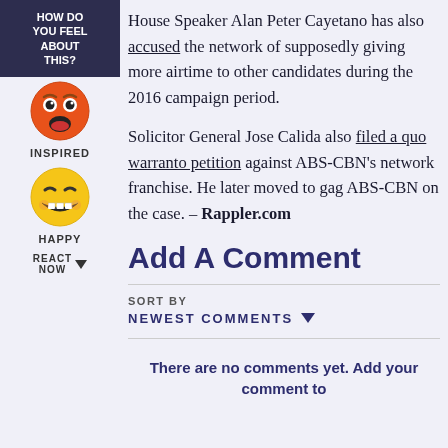HOW DO YOU FEEL ABOUT THIS?
[Figure (illustration): Orange/red emoji face with wide eyes and open mouth (inspired reaction emoji)]
INSPIRED
[Figure (illustration): Yellow emoji face with big grin and squinting eyes (happy reaction emoji)]
HAPPY
REACT NOW
House Speaker Alan Peter Cayetano has also accused the network of supposedly giving more airtime to other candidates during the 2016 campaign period.
Solicitor General Jose Calida also filed a quo warranto petition against ABS-CBN’s network franchise. He later moved to gag ABS-CBN on the case. – Rappler.com
Add A Comment
SORT BY
NEWEST COMMENTS
There are no comments yet. Add your comment to